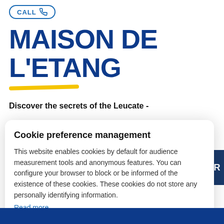[Figure (other): CALL button with phone icon, circular border in blue]
MAISON DE L'ETANG
[Figure (other): Yellow underline decorative stroke]
Discover the secrets of the Leucate -
Cookie preference management
This website enables cookies by default for audience measurement tools and anonymous features. You can configure your browser to block or be informed of the existence of these cookies. These cookies do not store any personally identifying information.
Read more
I choose
Ok for me